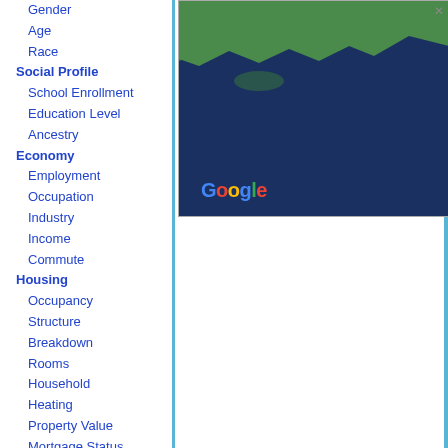Gender
Age
Race
Social Profile
School Enrollment
Education Level
Ancestry
Economy
Employment
Occupation
Industry
Income
Commute
Housing
Occupancy
Structure
Breakdown
Rooms
Household
Heating
Property Value
Mortgage Status
Rent Profile
Vehicle Usage
[Figure (map): Google Maps satellite view showing coastal area with land and ocean, with Google logo watermark in lower left.]
Old Saybrook Zip Codes
06475
Old Saybrook De...